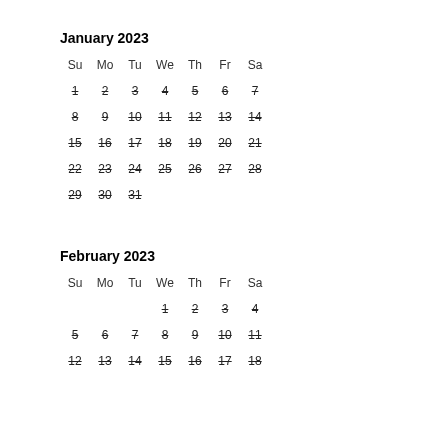January 2023
| Su | Mo | Tu | We | Th | Fr | Sa |
| --- | --- | --- | --- | --- | --- | --- |
| 1 | 2 | 3 | 4 | 5 | 6 | 7 |
| 8 | 9 | 10 | 11 | 12 | 13 | 14 |
| 15 | 16 | 17 | 18 | 19 | 20 | 21 |
| 22 | 23 | 24 | 25 | 26 | 27 | 28 |
| 29 | 30 | 31 |  |  |  |  |
February 2023
| Su | Mo | Tu | We | Th | Fr | Sa |
| --- | --- | --- | --- | --- | --- | --- |
|  |  |  | 1 | 2 | 3 | 4 |
| 5 | 6 | 7 | 8 | 9 | 10 | 11 |
| 12 | 13 | 14 | 15 | 16 | 17 | 18 |